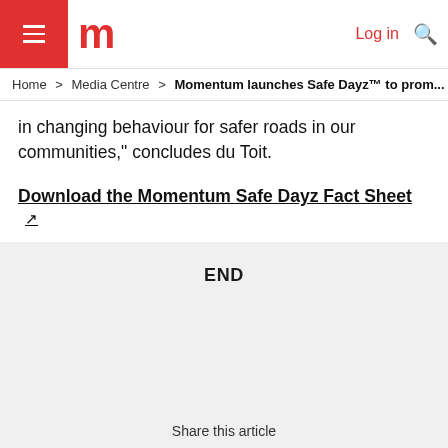Home > Media Centre > Momentum launches Safe Dayz™ to prom...
in changing behaviour for safer roads in our communities," concludes du Toit.
Download the Momentum Safe Dayz Fact Sheet [external link]
END
Share this article